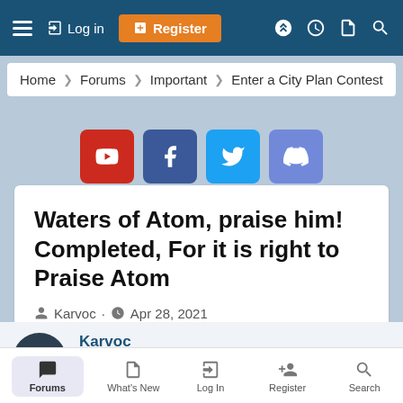Log in | Register
Home › Forums › Important › Enter a City Plan Contest
[Figure (other): Social media icon buttons: YouTube (red), Facebook (dark blue), Twitter (light blue), Discord (purple)]
Waters of Atom, praise him! Completed, For it is right to Praise Atom
Karvoc · Apr 28, 2021
Karvoc
Well-Known Member  Staff member  Patreon Supporter
Forums  What's New  Log In  Register  Search